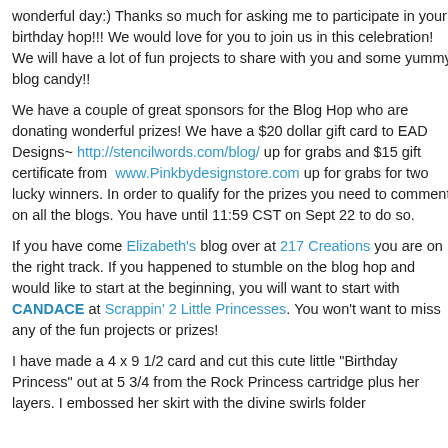wonderful day:) Thanks so much for asking me to participate in your birthday hop!!! We would love for you to join us in this celebration!  We will have a lot of fun projects to share with you and some yummy blog candy!!
We have a couple of great sponsors for the Blog Hop who are donating wonderful prizes! We have a $20 dollar gift card to EAD Designs~ http://stencilwords.com/blog/ up for grabs and $15 gift certificate from  www.Pinkbydesignstore.com up for grabs for two lucky winners. In order to qualify for the prizes you need to comment on all the blogs. You have until 11:59 CST on Sept 22 to do so.
If you have come Elizabeth's blog over at 217 Creations you are on the right track. If you happened to stumble on the blog hop and would like to start at the beginning, you will want to start with CANDACE at Scrappin' 2 Little Princesses. You won't want to miss any of the fun projects or prizes!
I have made a 4 x 9 1/2 card and cut this cute little "Birthday Princess" out at 5 3/4 from the Rock Princess cartridge plus her layers. I embossed her skirt with the divine swirls folder